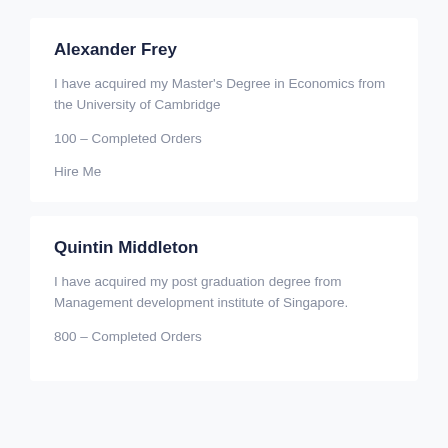Alexander Frey
I have acquired my Master’s Degree in Economics from the University of Cambridge
100 – Completed Orders
Hire Me
Quintin Middleton
I have acquired my post graduation degree from Management development institute of Singapore.
800 – Completed Orders